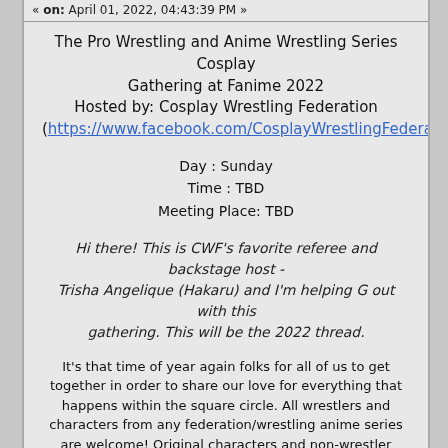« on: April 01, 2022, 04:43:39 PM »
The Pro Wrestling and Anime Wrestling Series Cosplay Gathering at Fanime 2022
Hosted by: Cosplay Wrestling Federation
(https://www.facebook.com/CosplayWrestlingFederation)
Day : Sunday
Time : TBD
Meeting Place: TBD
Hi there! This is CWF's favorite referee and backstage host - Trisha Angelique (Hakaru) and I'm helping G out with this gathering. This will be the 2022 thread.
It's that time of year again folks for all of us to get together in order to share our love for everything that happens within the square circle. All wrestlers and characters from any federation/wrestling anime series are welcome! Original characters and non-wrestler anime characters who are cosplaying wrestlers are also welcome! Gathering to be livestreamed on our Twitch page: twitch.tv/cwfnetwork!
Legal Statement
Fanime will be taking group pictures during the Gathering/Event this year. If you do not want to be included in those pictures please step aside for those photos. By remaining with the group when the pictures are being taken you give your consent to be photographed.
Photo Order
Big Group Photo